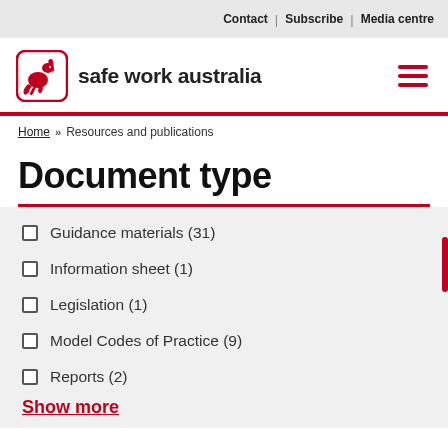Contact | Subscribe | Media centre
[Figure (logo): Safe Work Australia logo with kangaroo icon and text 'safe work australia']
Home » Resources and publications
Document type
Guidance materials (31)
Information sheet (1)
Legislation (1)
Model Codes of Practice (9)
Reports (2)
Show more